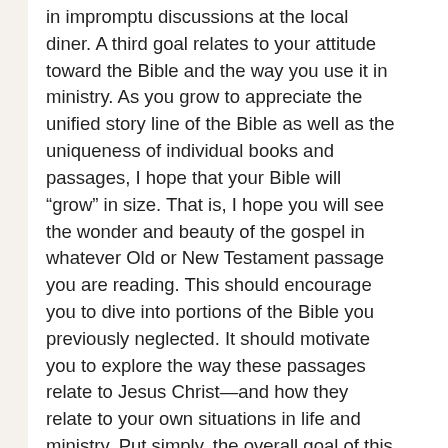in impromptu discussions at the local diner. A third goal relates to your attitude toward the Bible and the way you use it in ministry. As you grow to appreciate the unified story line of the Bible as well as the uniqueness of individual books and passages, I hope that your Bible will “grow” in size. That is, I hope you will see the wonder and beauty of the gospel in whatever Old or New Testament passage you are reading. This should encourage you to dive into portions of the Bible you previously neglected. It should motivate you to explore the way these passages relate to Jesus Christ—and how they relate to your own situations in life and ministry. Put simply, the overall goal of this book is to help you live a biblically rich, Christ-centered life in community with fellow believers. It will equip you to make more sense of the details of the Bible and the details of people’s lives. It will equip you to see how the diverse writings of Scripture…